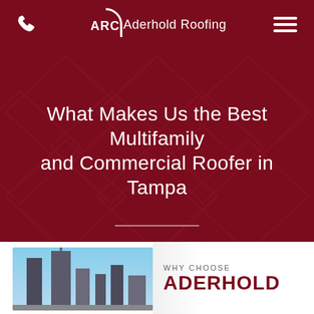ARC Aderhold Roofing
What Makes Us the Best Multifamily and Commercial Roofer in Tampa
[Figure (screenshot): Bottom partial view of a promotional graphic showing a city skyline photo on the left and 'WHY CHOOSE ADERHOLD' text on the right, against a white/light background]